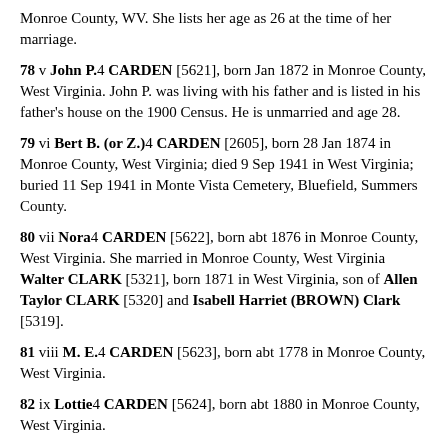Monroe County, WV. She lists her age as 26 at the time of her marriage.
78 v John P.4 CARDEN [5621], born Jan 1872 in Monroe County, West Virginia. John P. was living with his father and is listed in his father's house on the 1900 Census. He is unmarried and age 28.
79 vi Bert B. (or Z.)4 CARDEN [2605], born 28 Jan 1874 in Monroe County, West Virginia; died 9 Sep 1941 in West Virginia; buried 11 Sep 1941 in Monte Vista Cemetery, Bluefield, Summers County.
80 vii Nora4 CARDEN [5622], born abt 1876 in Monroe County, West Virginia. She married in Monroe County, West Virginia Walter CLARK [5321], born 1871 in West Virginia, son of Allen Taylor CLARK [5320] and Isabell Harriet (BROWN) Clark [5319].
81 viii M. E.4 CARDEN [5623], born abt 1778 in Monroe County, West Virginia.
82 ix Lottie4 CARDEN [5624], born abt 1880 in Monroe County, West Virginia.
83 x (--)4 CARDEN [5617], born 1 May 1882 in Monroe County,